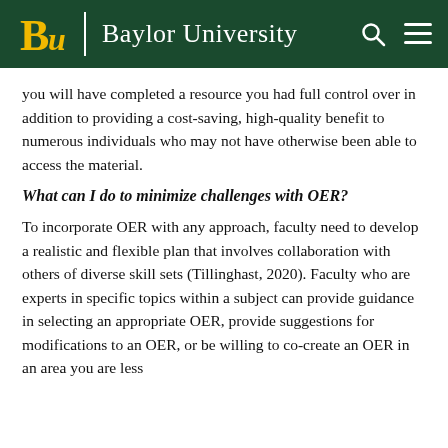Baylor University
you will have completed a resource you had full control over in addition to providing a cost-saving, high-quality benefit to numerous individuals who may not have otherwise been able to access the material.
What can I do to minimize challenges with OER?
To incorporate OER with any approach, faculty need to develop a realistic and flexible plan that involves collaboration with others of diverse skill sets (Tillinghast, 2020). Faculty who are experts in specific topics within a subject can provide guidance in selecting an appropriate OER, provide suggestions for modifications to an OER, or be willing to co-create an OER in an area you are less